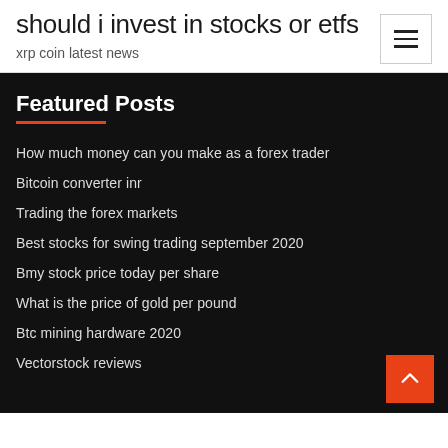should i invest in stocks or etfs
xrp coin latest news
Featured Posts
How much money can you make as a forex trader
Bitcoin converter inr
Trading the forex markets
Best stocks for swing trading september 2020
Bmy stock price today per share
What is the price of gold per pound
Btc mining hardware 2020
Vectorstock reviews